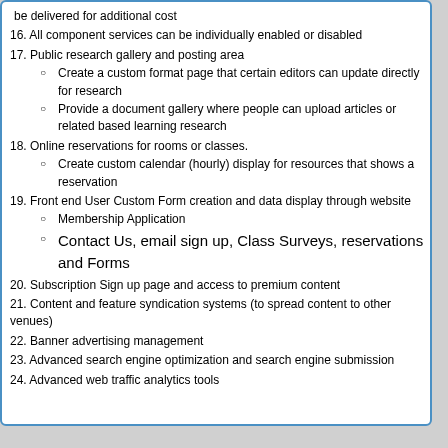16. All component services can be individually enabled or disabled
17. Public research gallery and posting area
Create a custom format page that certain editors can update directly for research
Provide a document gallery where people can upload articles or related based learning research
18. Online reservations for rooms or classes.
Create custom calendar (hourly) display for resources that shows a reservation
19. Front end User Custom Form creation and data display through website
Membership Application
Contact Us, email sign up, Class Surveys, reservations and Forms
20. Subscription Sign up page and access to premium content
21. Content and feature syndication systems (to spread content to other venues)
22. Banner advertising management
23. Advanced search engine optimization and search engine submission
24. Advanced web traffic analytics tools